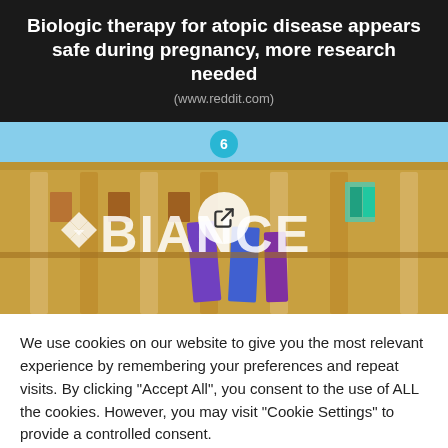Biologic therapy for atopic disease appears safe during pregnancy, more research needed
(www.reddit.com)
[Figure (photo): Binance logo overlaid on a golden building facade with blue sky background. A circular badge with '6' appears at top center, and a play/share button icon in the middle.]
We use cookies on our website to give you the most relevant experience by remembering your preferences and repeat visits. By clicking "Accept All", you consent to the use of ALL the cookies. However, you may visit "Cookie Settings" to provide a controlled consent.